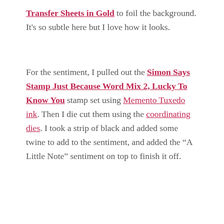Transfer Sheets in Gold to foil the background. It's so subtle here but I love how it looks.
For the sentiment, I pulled out the Simon Says Stamp Just Because Word Mix 2, Lucky To Know You stamp set using Memento Tuxedo ink. Then I die cut them using the coordinating dies. I took a strip of black and added some twine to add to the sentiment, and added the “A Little Note” sentiment on top to finish it off.